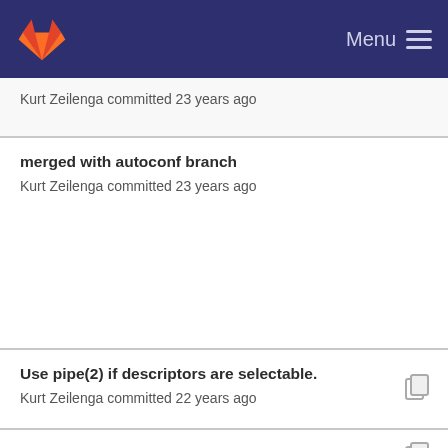GitLab — Menu
Kurt Zeilenga committed 23 years ago
merged with autoconf branch
Kurt Zeilenga committed 23 years ago
Use pipe(2) if descriptors are selectable.
Kurt Zeilenga committed 22 years ago
Use -lldap_r instead of -lldap -lthread.